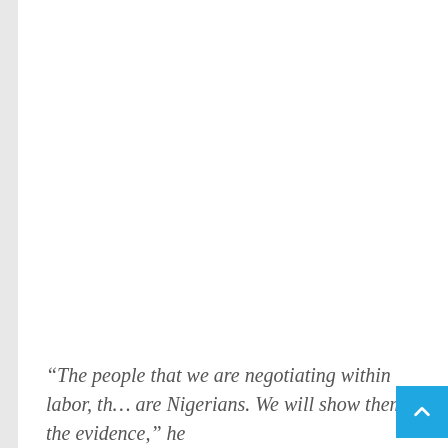“The people that we are negotiating within labor, th… are Nigerians. We will show them the evidence,” he